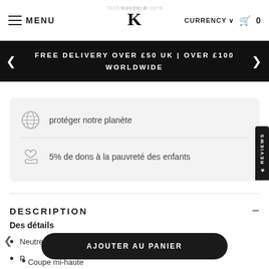MENU | KULTKID logo | CURRENCY | cart 0
FREE DELIVERY OVER £50 UK | OVER £100 WORLDWIDE
protéger notre planète
5% de dons à la pauvreté des enfants
DESCRIPTION
Des détails
Neutre de genre
P...
Lo...
Coupe mi-haute
AJOUTER AU PANIER